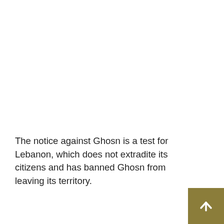The notice against Ghosn is a test for Lebanon, which does not extradite its citizens and has banned Ghosn from leaving its territory.
[Figure (other): Scroll-to-top button: a square button with dark olive/gold background containing a white upward-pointing arrow icon, positioned in the bottom-right corner.]